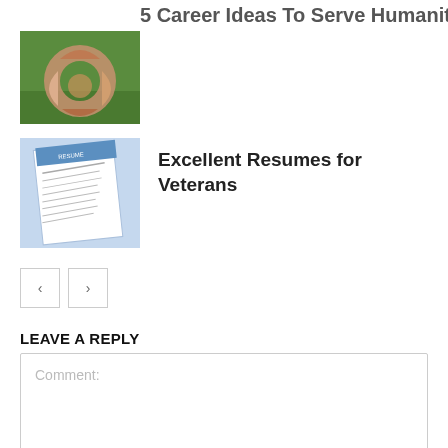5 Career Ideas To Serve Humanity
[Figure (photo): Hands joined together in a circle on grass background]
Excellent Resumes for Veterans
[Figure (photo): Resume document with blue header and lines of text]
< >  (pagination navigation buttons)
LEAVE A REPLY
Comment: